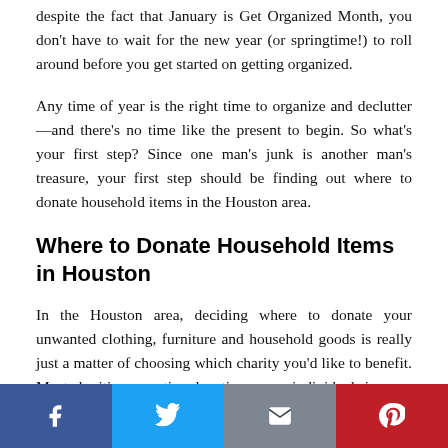despite the fact that January is Get Organized Month, you don't have to wait for the new year (or springtime!) to roll around before you get started on getting organized.
Any time of year is the right time to organize and declutter—and there's no time like the present to begin. So what's your first step? Since one man's junk is another man's treasure, your first step should be finding out where to donate household items in the Houston area.
Where to Donate Household Items in Houston
In the Houston area, deciding where to donate your unwanted clothing, furniture and household goods is really just a matter of choosing which charity you'd like to benefit. Most charities accepting donations serve individuals in
Facebook Twitter Email Pinterest